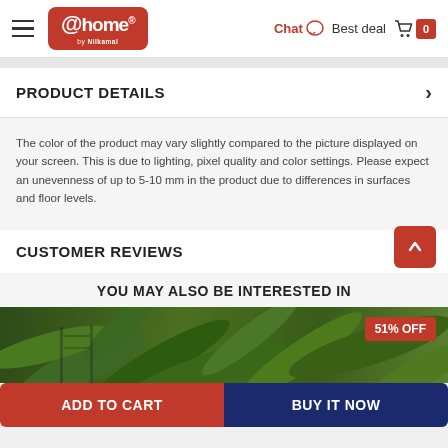@home by Nilkamal — Chat | Best deal | Cart 0
PRODUCT DETAILS
The color of the product may vary slightly compared to the picture displayed on your screen. This is due to lighting, pixel quality and color settings. Please expect an unevenness of up to 5-10 mm in the product due to differences in surfaces and floor levels.
CUSTOMER REVIEWS
YOU MAY ALSO BE INTERESTED IN
[Figure (photo): Green tropical plants product image with 51% OFF discount badge]
ADD TO CART | BUY IT NOW